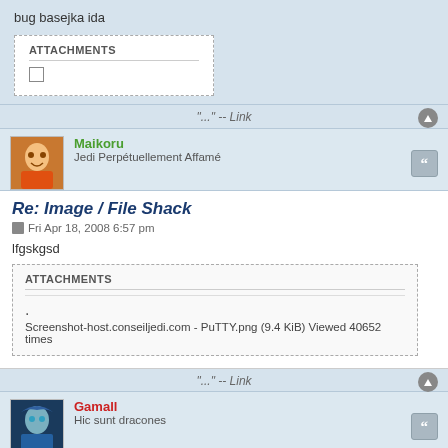bug basejka ida
ATTACHMENTS
"..." -- Link
Maikoru
Jedi Perpétuellement Affamé
Re: Image / File Shack
Fri Apr 18, 2008 6:57 pm
lfgskgsd
ATTACHMENTS
Screenshot-host.conseiljedi.com - PuTTY.png (9.4 KiB) Viewed 40652 times
"..." -- Link
Gamall
Hic sunt dracones